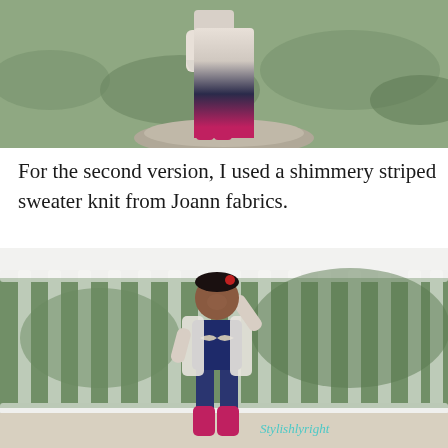[Figure (photo): Partial photo of a young child standing outdoors on a rock, wearing a white/gray outfit and pink boots, with green grass in background. Only lower half visible.]
For the second version, I used a shimmery striped sweater knit from Joann fabrics.
[Figure (photo): Photo of a smiling toddler girl standing in front of a white railing/fence with green plants behind, wearing a white cardigan over a navy top with jeans and pink boots. A watermark in teal cursive script appears in the lower right.]